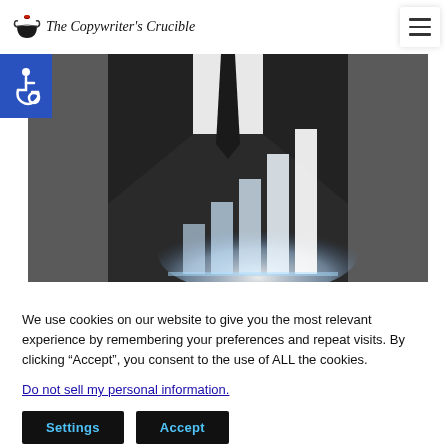The Copywriter's Crucible
[Figure (photo): Man in dark suit holding a glowing bar chart rising upward, shown from neck down, on a dark grey background.]
We use cookies on our website to give you the most relevant experience by remembering your preferences and repeat visits. By clicking “Accept”, you consent to the use of ALL the cookies.
Do not sell my personal information.
Settings   Accept